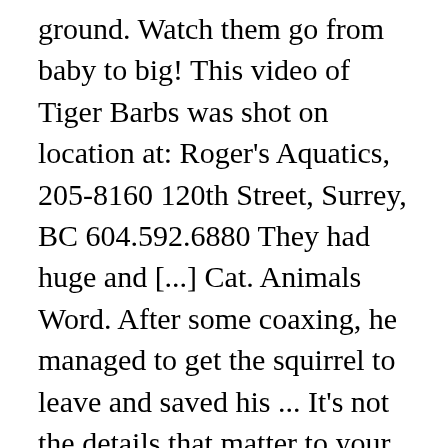ground. Watch them go from baby to big! This video of Tiger Barbs was shot on location at: Roger's Aquatics, 205-8160 120th Street, Surrey, BC 604.592.6880 They had huge and [...] Cat. Animals Word. After some coaxing, he managed to get the squirrel to leave and saved his ... It's not the details that matter to your cat's viewing preferences, it's the movement that captures their attention. 2 Hours of Birds,Squirrels, and Rabbits, Livaciw. 58:30. Next, discover what other cat games you can play together to make sure your pet is getting enough exercise for their general wellbeing. These cat games involve mice catching, string chasing and following dots on the screen - all part of the feline favourite